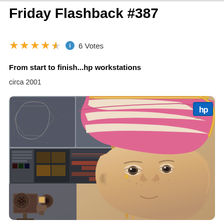Friday Flashback #387
★★★★½ ℹ 6 Votes
From start to finish...hp workstations
circa 2001
[Figure (photo): HP workstation advertisement composite image showing a 3D animated alien/humanoid character with a pink and cream striped hat, blonde hair, and detailed face freckles. In the background upper left are 3D modeling software screenshots. Bottom left shows a vintage film projector. The HP logo is visible in the upper right corner.]